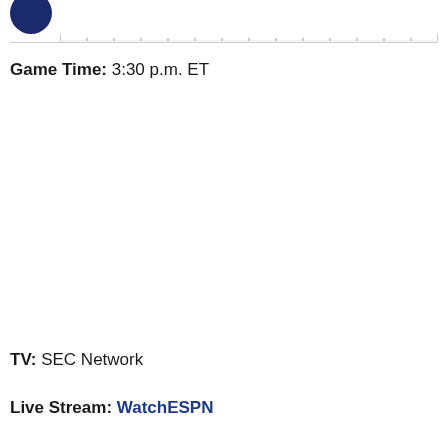[Figure (logo): Dark navy blue circular logo/icon, partially cropped at top-left]
Game Time: 3:30 p.m. ET
TV: SEC Network
Live Stream: WatchESPN